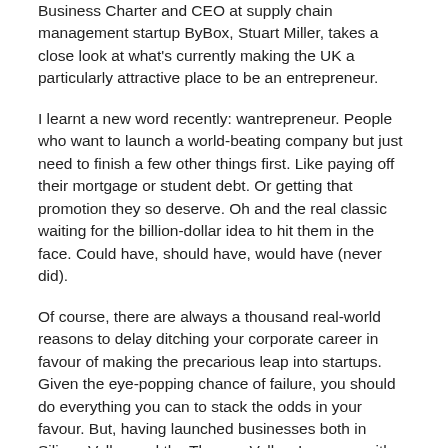Business Charter and CEO at supply chain management startup ByBox, Stuart Miller, takes a close look at what's currently making the UK a particularly attractive place to be an entrepreneur.
I learnt a new word recently: wantrepreneur. People who want to launch a world-beating company but just need to finish a few other things first. Like paying off their mortgage or student debt. Or getting that promotion they so deserve. Oh and the real classic waiting for the billion-dollar idea to hit them in the face. Could have, should have, would have (never did).
Of course, there are always a thousand real-world reasons to delay ditching your corporate career in favour of making the precarious leap into startups. Given the eye-popping chance of failure, you should do everything you can to stack the odds in your favour. But, having launched businesses both in Silicon Valley and the Thames Valley, I can say with certainty that Britain is a tremendous place to launch a new venture.?
The government gets it